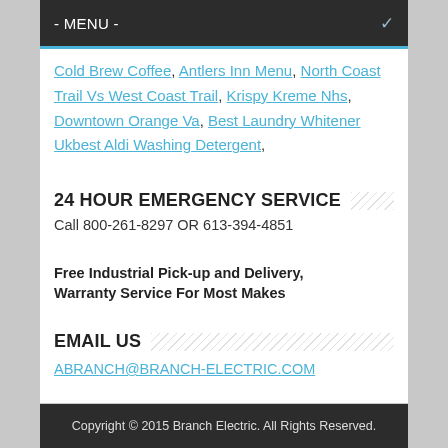- MENU -
Cold Brew Coffee, Antlers Inn Menu, North Coast Trail Vs West Coast Trail, Krispy Kreme Nhs, Downtown Orange Va, Best Laundry Whitener Ukbest Aldi Washing Detergent,
24 HOUR EMERGENCY SERVICE
Call 800-261-8297 OR 613-394-4851
Free Industrial Pick-up and Delivery, Warranty Service For Most Makes
EMAIL US
ABRANCH@BRANCH-ELECTRIC.COM
Copyright © 2015 Branch Electric. All Rights Reserved.